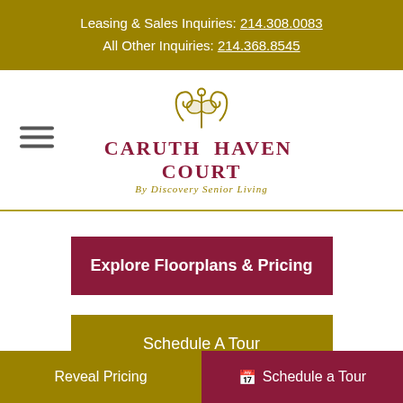Leasing & Sales Inquiries: 214.308.0083
All Other Inquiries: 214.368.8545
[Figure (logo): Caruth Haven Court by Discovery Senior Living logo with ornamental flourish]
Explore Floorplans & Pricing
Schedule A Tour
Reveal Pricing   Schedule a Tour